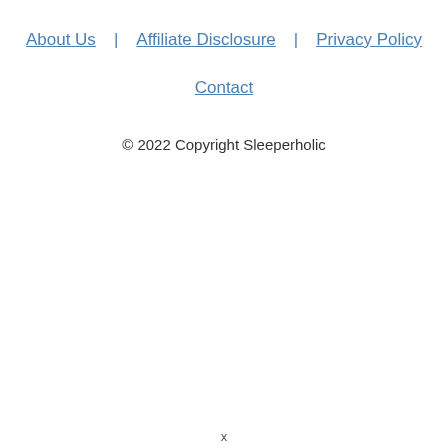About Us | Affiliate Disclosure | Privacy Policy
Contact
© 2022 Copyright Sleeperholic
x